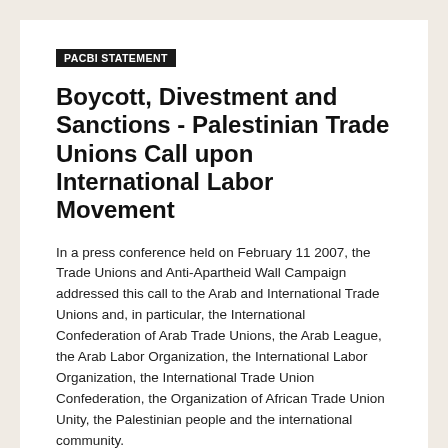PACBI STATEMENT
Boycott, Divestment and Sanctions - Palestinian Trade Unions Call upon International Labor Movement
In a press conference held on February 11 2007, the Trade Unions and Anti-Apartheid Wall Campaign addressed this call to the Arab and International Trade Unions and, in particular, the International Confederation of Arab Trade Unions, the Arab League, the Arab Labor Organization, the International Labor Organization, the International Trade Union Confederation, the Organization of African Trade Union Unity, the Palestinian people and the international community.
A further press conference is scheduled to be held in the Gaza Strip.